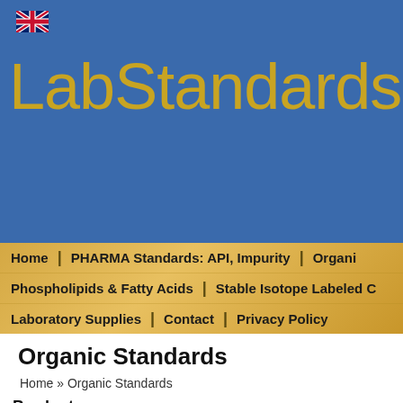[Figure (logo): UK flag icon in the top-left of the blue header area]
LabStandards
Home | PHARMA Standards: API, Impurity | Organi... | Phospholipids & Fatty Acids | Stable Isotope Labeled C... | Laboratory Supplies | Contact | Privacy Policy
Organic Standards
Home » Organic Standards
Products
7849 products